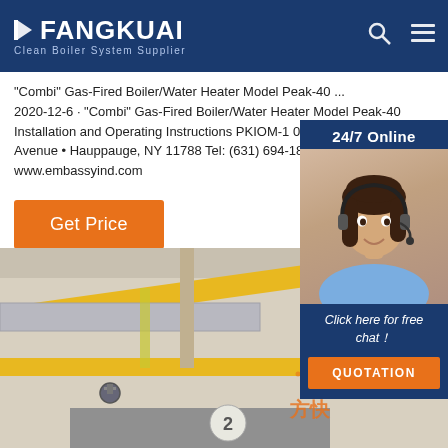FANGKUAI Clean Boiler System Supplier
"Combi" Gas-Fired Boiler/Water Heater Model Peak-40 ...
2020-12-6 · "Combi" Gas-Fired Boiler/Water Heater Model Peak-40 Installation and Operating Instructions PKIOM-1 01/2019 215 Combi Avenue • Hauppauge, NY 11788 Tel: (631) 694-1832 www.embassyind.com
Get Price
[Figure (photo): Customer service representative woman with headset, 24/7 Online chat widget overlay on dark blue background with 'Click here for free chat!' and QUOTATION button]
[Figure (photo): Industrial boiler room with yellow and orange pipes, silver ducts, and boiler equipment visible, with Fangkuai TOP branding in orange text]